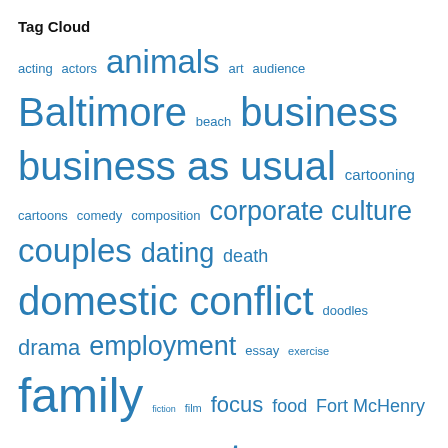Tag Cloud
[Figure (infographic): Tag cloud showing various tags in different sizes and shades of blue, representing relative frequency/weight. Tags include: acting, actors, animals, art, audience, Baltimore, beach, business, business as usual, cartooning, cartoons, comedy, composition, corporate culture, couples, dating, death, domestic conflict, doodles, drama, employment, essay, exercise, family, fiction, film, focus, food, Fort McHenry, framing, gag cartoons, gags, greed, hip shots, historic site, history, holidays, humor, illustration, images, kids, love, management, marriage, Maryland, money, movies, music]